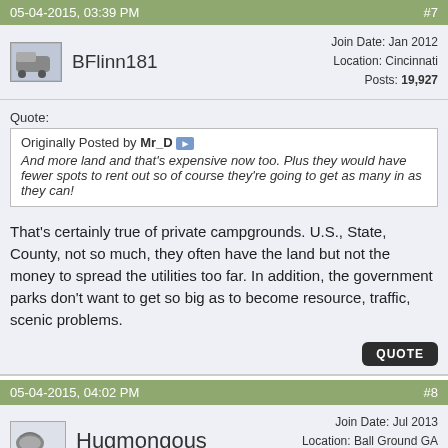05-04-2015, 03:39 PM   #7
BFlinn181  Join Date: Jan 2012  Location: Cincinnati  Posts: 19,927
Quote:
Originally Posted by Mr_D
And more land and that's expensive now too. Plus they would have fewer spots to rent out so of course they're going to get as many in as they can!
That's certainly true of private campgrounds. U.S., State, County, not so much, they often have the land but not the money to spread the utilities too far. In addition, the government parks don't want to get so big as to become resource, traffic, scenic problems.
05-04-2015, 04:02 PM   #8
Hugmongous  Join Date: Jul 2013  Location: Ball Ground GA  Posts: 435